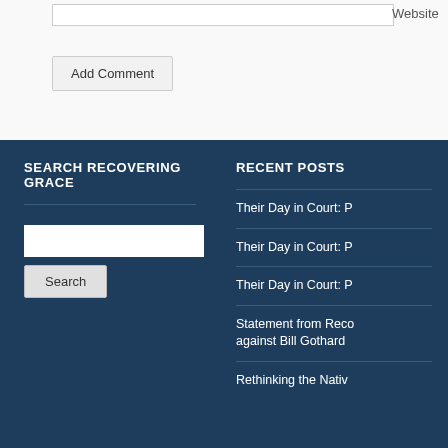Website
Add Comment
SEARCH RECOVERING GRACE
Search
RECENT POSTS
Their Day in Court: P
Their Day in Court: P
Their Day in Court: P
Statement from Reco against Bill Gothard
Rethinking the Nativ